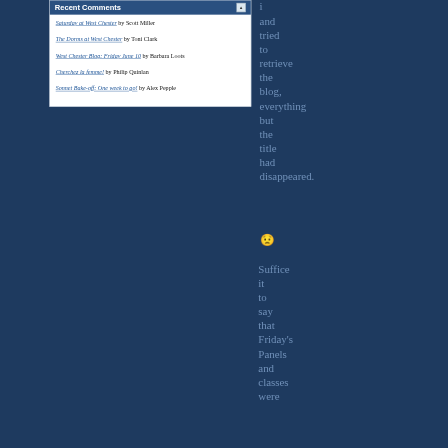Recent Comments
Saturday at West Chester by Scott Miller
The Dorms at West Chester by Toni Clark
West Chester Blog: Friday June 10 by Barbara Loots
Cherchez la femme! by Philip Quinlan
Sonnet Bake-off: One week to go! by Alex Pepple
i and tried to retrieve the blog, everything but the title had disappeared. 😟 Suffice it to say that Friday's Panels and classes were